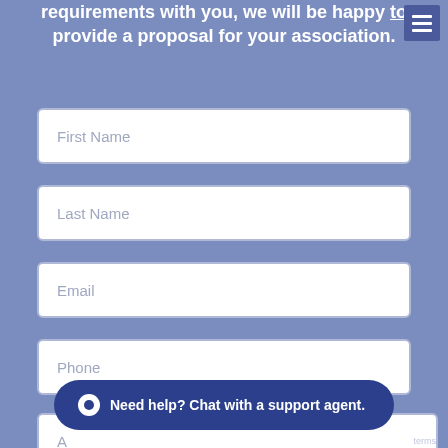requirements with you, we will be happy to provide a proposal for your association.
[Figure (other): Form with input fields: First Name, Last Name, Email, Phone, and a partially visible Address field. A chat support bubble at the bottom reads 'Need help? Chat with a support agent.']